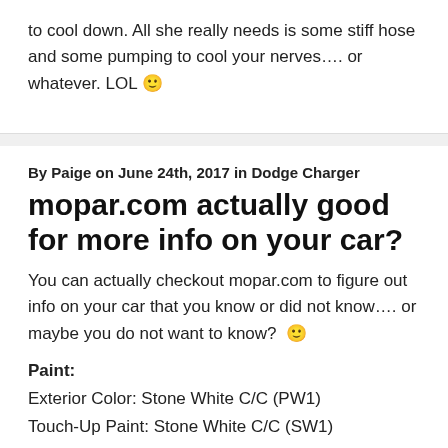to cool down. All she really needs is some stiff hose and some pumping to cool your nerves…. or whatever. LOL 🙂
By Paige on June 24th, 2017 in Dodge Charger
mopar.com actually good for more info on your car?
You can actually checkout mopar.com to figure out info on your car that you know or did not know…. or maybe you do not want to know? 🙂
Paint:
Exterior Color: Stone White C/C (PW1)
Touch-Up Paint: Stone White C/C (SW1)
Paint Stick: Part No. 04864104AB
Standard: